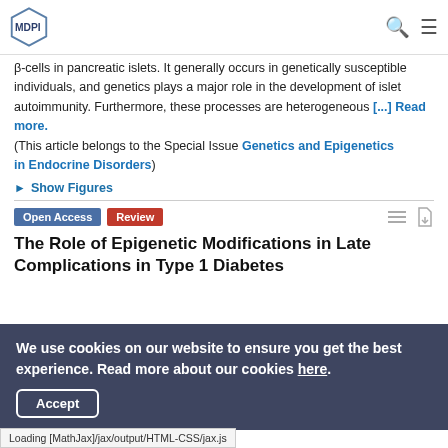MDPI
β-cells in pancreatic islets. It generally occurs in genetically susceptible individuals, and genetics plays a major role in the development of islet autoimmunity. Furthermore, these processes are heterogeneous [...] Read more. (This article belongs to the Special Issue Genetics and Epigenetics in Endocrine Disorders)
► Show Figures
Open Access  Review
The Role of Epigenetic Modifications in Late Complications in Type 1 Diabetes
We use cookies on our website to ensure you get the best experience. Read more about our cookies here.
Accept
Loading [MathJax]/jax/output/HTML-CSS/jax.js